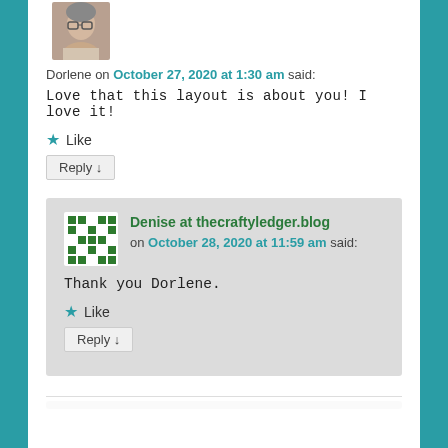[Figure (photo): Avatar photo of Dorlene, a woman with glasses]
Dorlene on October 27, 2020 at 1:30 am said:
Love that this layout is about you! I love it!
★ Like
Reply ↓
[Figure (logo): Avatar logo for Denise at thecraftyledger.blog - green pixel/mosaic pattern]
Denise at thecraftyledger.blog on October 28, 2020 at 11:59 am said:
Thank you Dorlene.
★ Like
Reply ↓